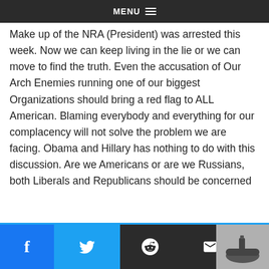MENU
Make up of the NRA (President) was arrested this week. Now we can keep living in the lie or we can move to find the truth. Even the accusation of Our Arch Enemies running one of our biggest Organizations should bring a red flag to ALL American. Blaming everybody and everything for our complacency will not solve the problem we are facing. Obama and Hillary has nothing to do with this discussion. Are we Americans or are we Russians, both Liberals and Republicans should be concerned
[Figure (other): Two small gray share buttons]
[Figure (other): Social sharing bar with Facebook, Twitter, Reddit, Email icons and a thumbnail image of a submarine or ship]